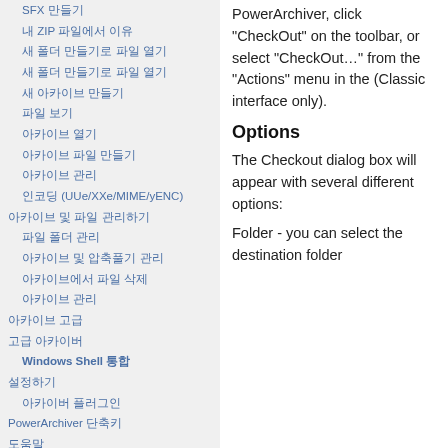SFX 만들기
내 ZIP 파일에서 이유
새 폴더 만들기로 파일 열기
새 폴더 만들기로 파일 열기
새 아카이브 만들기
파일 보기
아카이브 열기
아카이브 파일 만들기
아카이브 관리
인코딩 (UUe/XXe/MIME/yENC)
아카이브 및 파일 관리하기
파일 폴더 관리
아카이브 및 압축풀기 관리
아카이브에서 파일 삭제
아카이브 관리
아카이브 고급
고급 아카이버
Windows Shell 통합
설정하기
아카이버 플러그인
PowerArchiver 단축키
도움말
PowerArchiver, click "CheckOut" on the toolbar, or select "CheckOut…" from the "Actions" menu in the (Classic interface only).
Options
The Checkout dialog box will appear with several different options:
Folder - you can select the destination folder